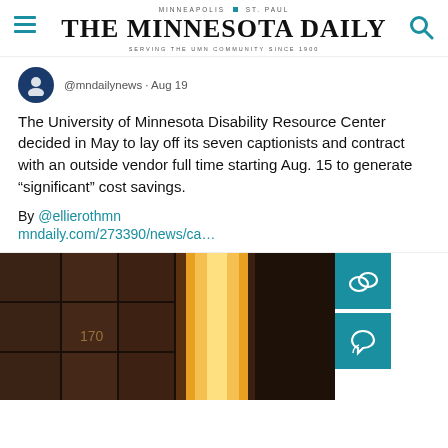MINNEAPOLIS | ST. PAUL
THE MINNESOTA DAILY
SERVING THE UMN COMMUNITY SINCE 1900
@mndailynews · Aug 19
The University of Minnesota Disability Resource Center decided in May to lay off its seven captionists and contract with an outside vendor full time starting Aug. 15 to generate “significant” cost savings.
By @ellierothmn
mndaily.com/273390/news/ca…
[Figure (photo): Interior corridor photo showing dark wooden lockers/mailboxes on the left and a brightly lit open door on the right, with room number 170 visible on the lockers.]